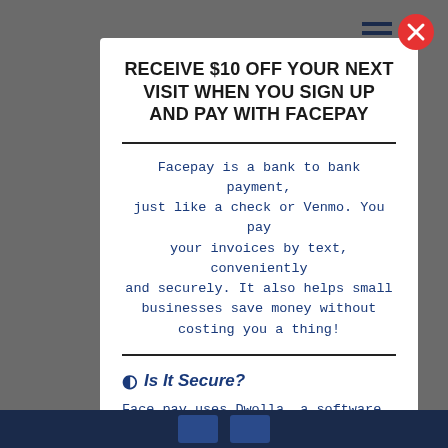RECEIVE $10 OFF YOUR NEXT VISIT WHEN YOU SIGN UP AND PAY WITH FACEPAY
Facepay is a bank to bank payment, just like a check or Venmo. You pay your invoices by text, conveniently and securely. It also helps small businesses save money without costing you a thing!
Is It Secure?
Face pay uses Dwolla, a software used by financial institutions such as Mastercard for secure fund transfers, and uses Plaid, the same verificaton software used by Venmo. Facepay is built on a private blockchain, neither